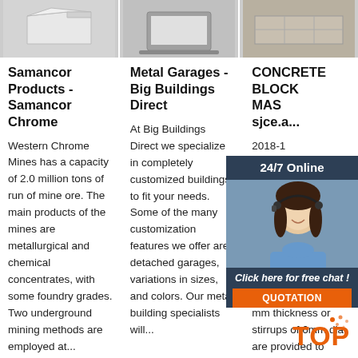[Figure (photo): Top strip of three product/service images: a metal product (white/silver boxy shape), a laptop/building image (gray), and a concrete block/structure (gray-brown)]
Samancor Products - Samancor Chrome
Western Chrome Mines has a capacity of 2.0 million tons of run of mine ore. The main products of the mines are metallurgical and chemical concentrates, with some foundry grades. Two underground mining methods are employed at...
Metal Garages - Big Buildings Direct
At Big Buildings Direct we specialize in completely customized buildings to fit your needs. Some of the many customization features we offer are detached garages, variations in sizes, and colors. Our metal building specialists will...
CONCRETE BLOCK MASONRY sjce.a...
2018-1 11u20... shed o... suppor... of long... Vertica... 16 mm... are ins... grooves of bricks, steel plates of 2-3 mm thickness or stirrups of 6mm dia. are provided to anchor the bars at every 4th...
[Figure (infographic): 24/7 Online chat widget with dark blue background, female agent with headset photo, 'Click here for free chat!' text, and orange QUOTATION button]
[Figure (logo): TOP badge logo in orange with decorative dots]